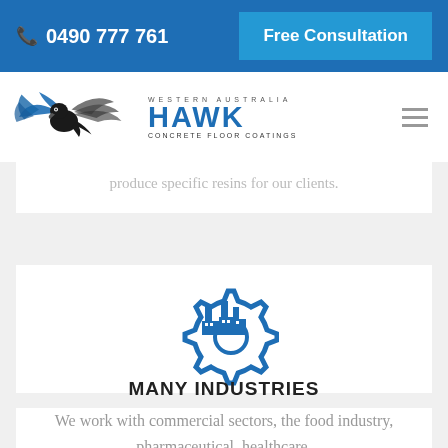📞 0490 777 761   Free Consultation
[Figure (logo): Hawk Concrete Floor Coatings logo — Western Australia, hawk bird graphic in blue/grey, large HAWK text, CONCRETE FLOOR COATINGS below]
produce specific resins for our clients.
[Figure (illustration): Blue industrial/factory gear and buildings icon]
MANY INDUSTRIES
We work with commercial sectors, the food industry, pharmaceutical, healthcare,